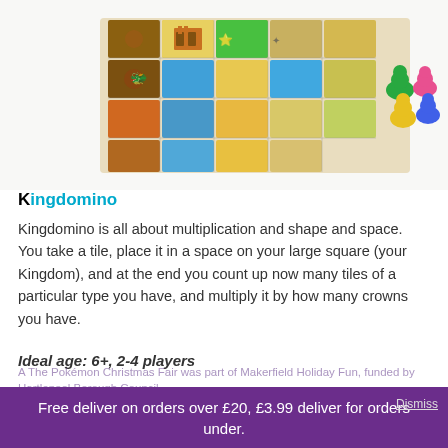[Figure (photo): Photo of Kingdomino board game showing colorful tiles arranged in a grid with meeple tokens in various colors (green, pink, yellow, blue) beside the board.]
Kingdomino
Kingdomino is all about multiplication and shape and space. You take a tile, place it in a space on your large square (your Kingdom), and at the end you count up now many tiles of a particular type you have, and multiply it by how many crowns you have.
Ideal age: 6+, 2-4 players
Free deliver on orders over £20, £3.99 deliver for orders under.